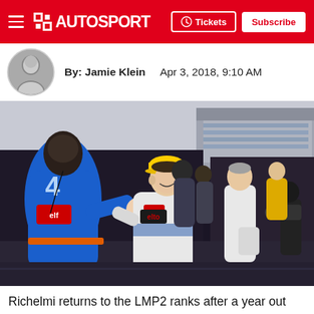AUTOSPORT — Tickets | Subscribe
By: Jamie Klein   Apr 3, 2018, 9:10 AM
[Figure (photo): Two racing drivers in blue and white race suits fist-bumping on a race grid, with a crowd of team personnel and cameras in the background. The central driver wears a yellow cap and a white race suit with Mamut and Allianz branding. A large blue racing suit with number 4 and elf branding is visible on the left.]
Richelmi returns to the LMP2 ranks after a year out